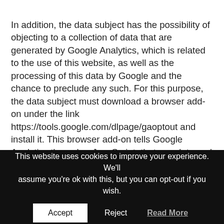In addition, the data subject has the possibility of objecting to a collection of data that are generated by Google Analytics, which is related to the use of this website, as well as the processing of this data by Google and the chance to preclude any such. For this purpose, the data subject must download a browser add-on under the link https://tools.google.com/dlpage/gaoptout and install it. This browser add-on tells Google Analytics through a JavaScript, that any data and information about the visits of Internet pages may not be transmitted to Google Analytics. The installation of the browser add-ons is considered
This website uses cookies to improve your experience. We'll assume you're ok with this, but you can opt-out if you wish.
Accept  Reject  Read More